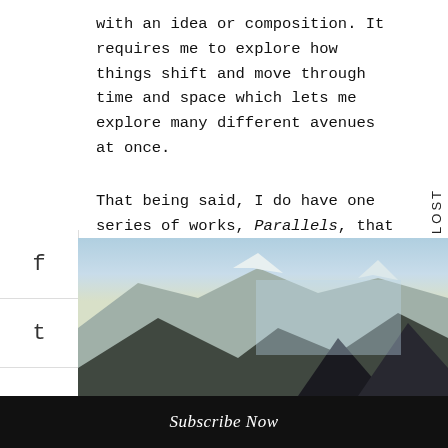with an idea or composition. It requires me to explore how things shift and move through time and space which lets me explore many different avenues at once.
That being said, I do have one series of works, Parallels, that goes against quite literally everything that I just said. It speaks directly to ideas of the internet, the way information flows through the internet, and the way in which we represent ourselves on the internet. For these works, I very specifically refer to them as GIFs.
[Figure (photo): Mountain landscape photo showing snow-capped peaks with a blue sky, with a semi-transparent rectangular overlay in the center-right area.]
Subscribe Now